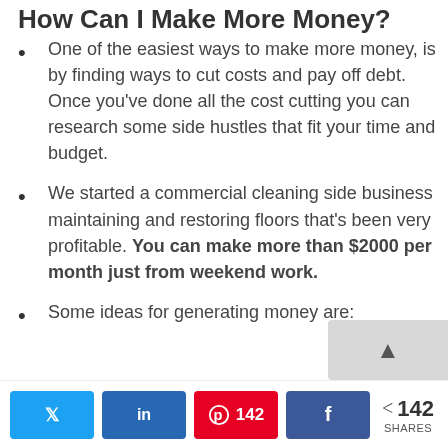How Can I Make More Money?
One of the easiest ways to make more money, is by finding ways to cut costs and pay off debt. Once you've done all the cost cutting you can research some side hustles that fit your time and budget.
We started a commercial cleaning side business maintaining and restoring floors that's been very profitable. You can make more than $2000 per month just from weekend work.
Some ideas for generating money are: